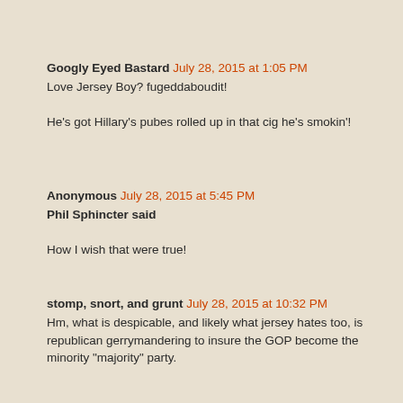Googly Eyed Bastard July 28, 2015 at 1:05 PM
Love Jersey Boy? fugeddaboudit!

He's got Hillary's pubes rolled up in that cig he's smokin'!
Anonymous July 28, 2015 at 5:45 PM
Phil Sphincter said

How I wish that were true!
stomp, snort, and grunt July 28, 2015 at 10:32 PM
Hm, what is despicable, and likely what jersey hates too, is republican gerrymandering to insure the GOP become the minority "majority" party.